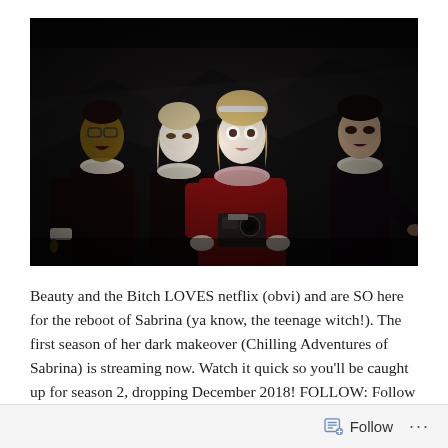[Figure (photo): Dark moody promotional photo from Chilling Adventures of Sabrina showing four women in dark Victorian-style clothing with lace collars. The central figure is a blonde woman in a red dress holding a camera. Three other women stand behind her against a dark rocky background.]
Beauty and the Bitch LOVES netflix (obvi) and are SO here for the reboot of Sabrina (ya know, the teenage witch!). The first season of her dark makeover (Chilling Adventures of Sabrina) is streaming now. Watch it quick so you'll be caught up for season 2, dropping December 2018! FOLLOW: Follow Morgan
Follow ...